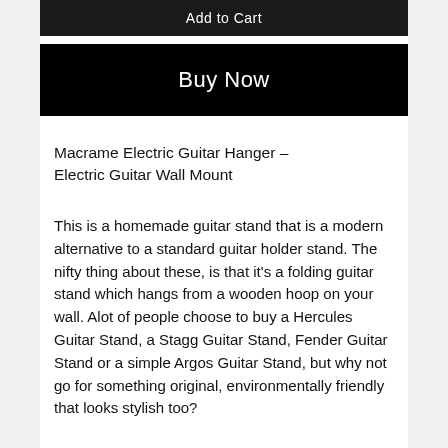[Figure (screenshot): Add to Cart button (dark/black background, white text)]
[Figure (screenshot): Buy Now button (black background, white text)]
Macrame Electric Guitar Hanger – Electric Guitar Wall Mount
This is a homemade guitar stand that is a modern alternative to a standard guitar holder stand. The nifty thing about these, is that it's a folding guitar stand which hangs from a wooden hoop on your wall. Alot of people choose to buy a Hercules Guitar Stand, a Stagg Guitar Stand, Fender Guitar Stand or a simple Argos Guitar Stand, but why not go for something original, environmentally friendly that looks stylish too?